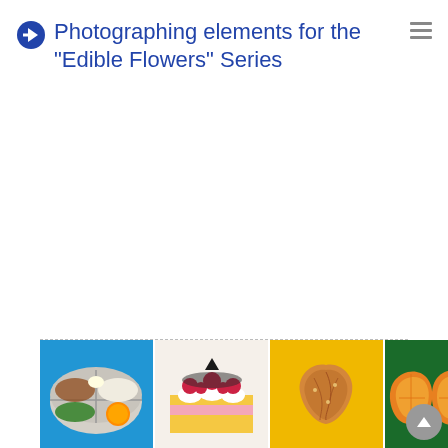Photographing elements for the "Edible Flowers" Series
[Figure (photo): Thumbnail row showing four food illustrations: 1) Bento box with rice, vegetables, orange on blue background; 2) Layered cake slice with raspberries on light background; 3) Dried fruit piece on yellow background; 4) Citrus fruit pieces on dark green background. A back-to-top arrow button is visible at bottom right.]